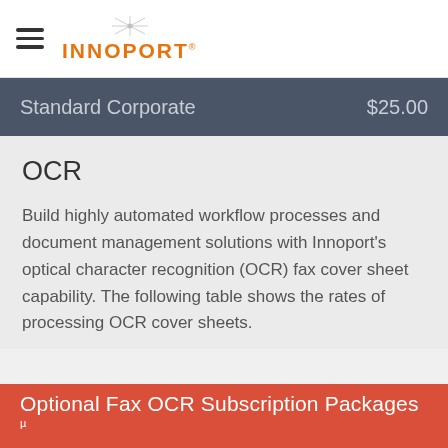INNOPORT
Standard Corporate   $25.00
OCR
Build highly automated workflow processes and document management solutions with Innoport's optical character recognition (OCR) fax cover sheet capability. The following table shows the rates of processing OCR cover sheets.
Optional Fax OCR Subscription Packages